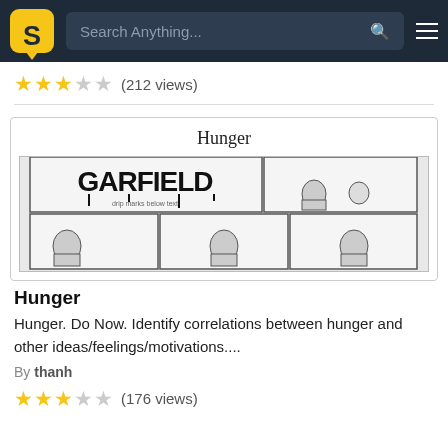S [logo] Search Anything... [search icon] [hamburger menu]
★★★☆☆ (212 views)
[Figure (illustration): A comic strip card with title 'Hunger' and a Garfield comic strip showing panels of characters at a table]
Hunger
Hunger. Do Now. Identify correlations between hunger and other ideas/feelings/motivations....
By thanh
★★★☆☆ (176 views)